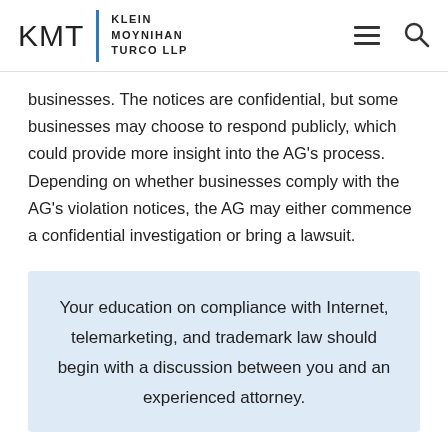KMT | KLEIN MOYNIHAN TURCO LLP
businesses. The notices are confidential, but some businesses may choose to respond publicly, which could provide more insight into the AG's process. Depending on whether businesses comply with the AG's violation notices, the AG may either commence a confidential investigation or bring a lawsuit.
Your education on compliance with Internet, telemarketing, and trademark law should begin with a discussion between you and an experienced attorney.